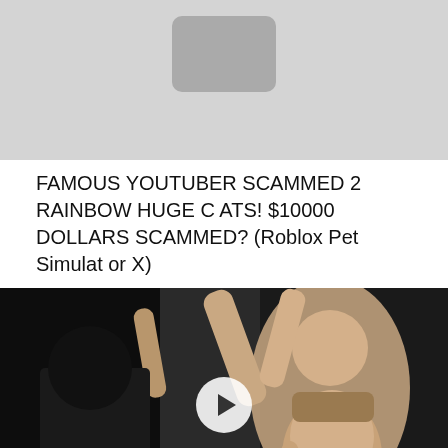[Figure (screenshot): YouTube video thumbnail placeholder — gray background with rounded rectangle icon at top]
FAMOUS YOUTUBER SCAMMED 2 RAINBOW HUGE CATS! $10000 DOLLARS SCAMMED? (Roblox Pet Simulator X)
[Figure (screenshot): Video thumbnail showing a crowd scene with a young man in the foreground, mouth open, with a play button overlay in the center]